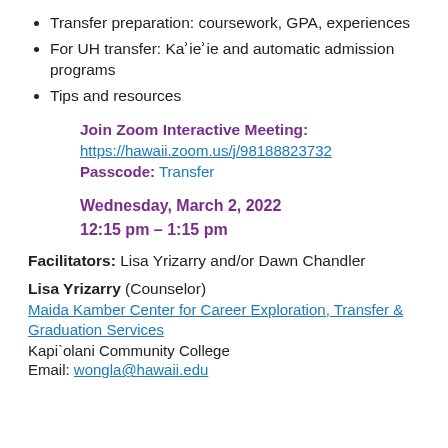Transfer preparation: coursework, GPA, experiences
For UH transfer: Kaʾieʾie and automatic admission programs
Tips and resources
Join Zoom Interactive Meeting:
https://hawaii.zoom.us/j/98188823732
Passcode: Transfer
Wednesday, March 2, 2022
12:15 pm – 1:15 pm
Facilitators: Lisa Yrizarry and/or Dawn Chandler
Lisa Yrizarry (Counselor)
Maida Kamber Center for Career Exploration, Transfer & Graduation Services
Kapi`olani Community College
Email: wongla@hawaii.edu